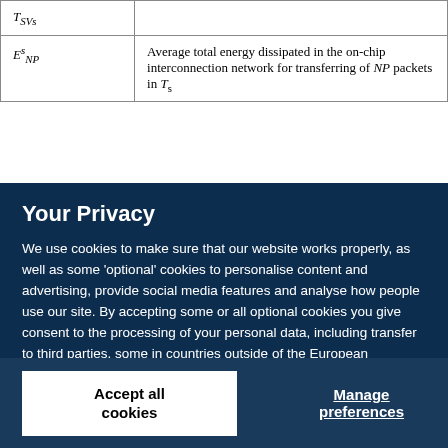| Symbol | Description |
| --- | --- |
| T_SVs |  |
| E^s_NP | Average total energy dissipated in the on-chip interconnection network for transferring of NP packets in T_s |
Your Privacy
We use cookies to make sure that our website works properly, as well as some 'optional' cookies to personalise content and advertising, provide social media features and analyse how people use our site. By accepting some or all optional cookies you give consent to the processing of your personal data, including transfer to third parties, some in countries outside of the European Economic Area that do not offer the same data protection standards as the country where you live. You can decide which optional cookies to accept by clicking on 'Manage Settings', where you can also find more information about how your personal data is processed. Further information can be found in our privacy policy.
Accept all cookies
Manage preferences